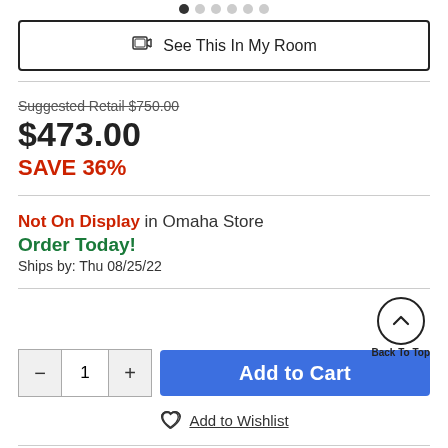[Figure (other): Pagination dots — one filled, six empty]
See This In My Room
Suggested Retail $750.00
$473.00
SAVE 36%
Not On Display in Omaha Store
Order Today!
Ships by: Thu 08/25/22
Back To Top
1
Add to Cart
Add to Wishlist